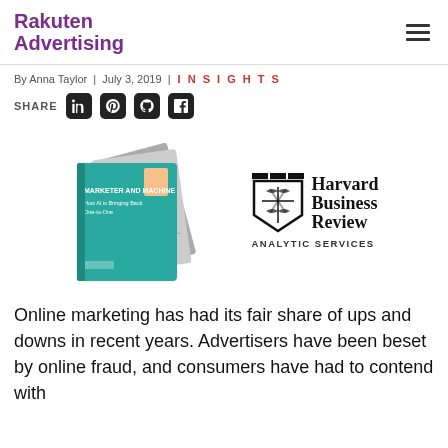Rakuten Advertising
By Anna Taylor | July 3, 2019 | INSIGHTS
SHARE
[Figure (photo): Stack of report booklets titled 'Marketer and Machine: How AI is Bringing Back One-to-One' alongside Harvard Business Review Analytic Services logo]
Online marketing has had its fair share of ups and downs in recent years. Advertisers have been beset by online fraud, and consumers have had to contend with